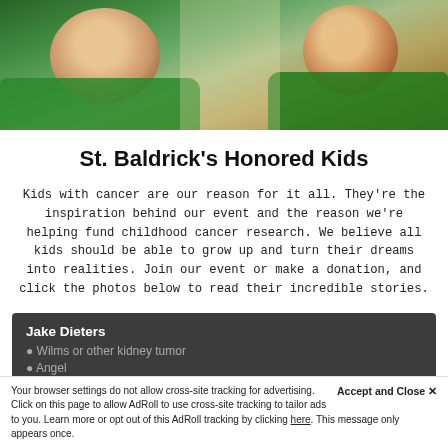[Figure (photo): Banner photo of people wearing green St. Baldrick's t-shirts, smiling and embracing outdoors]
St. Baldrick's Honored Kids
Kids with cancer are our reason for it all. They're the inspiration behind our event and the reason we're helping fund childhood cancer research. We believe all kids should be able to grow up and turn their dreams into realities. Join our event or make a donation, and click the photos below to read their incredible stories.
Jake Dieters
Wilms or other kidney tumor
Angel
Your browser settings do not allow cross-site tracking for advertising. Click on this page to allow AdRoll to use cross-site tracking to tailor ads to you. Learn more or opt out of this AdRoll tracking by clicking here. This message only appears once.